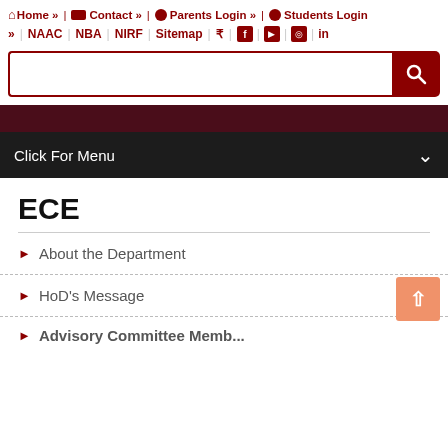Home » | Contact » | Parents Login » | Students Login » | NAAC | NBA | NIRF | Sitemap | ₹ | f | yt | instagram | in
[Figure (screenshot): Search input box with red search button]
Click For Menu
ECE
About the Department
HoD's Message